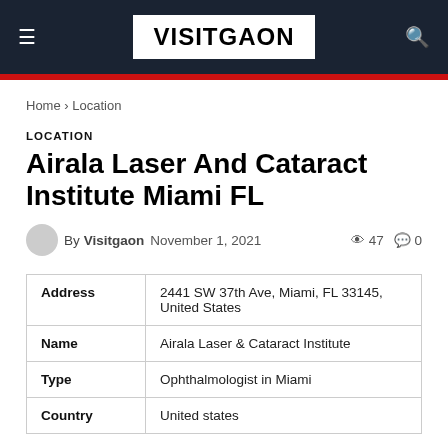VISITGAON
Home › Location
LOCATION
Airala Laser And Cataract Institute Miami FL
By Visitgaon  November 1, 2021  47  0
|  |  |
| --- | --- |
| Address | 2441 SW 37th Ave, Miami, FL 33145, United States |
| Name | Airala Laser & Cataract Institute |
| Type | Ophthalmologist in Miami |
| Country | United states |